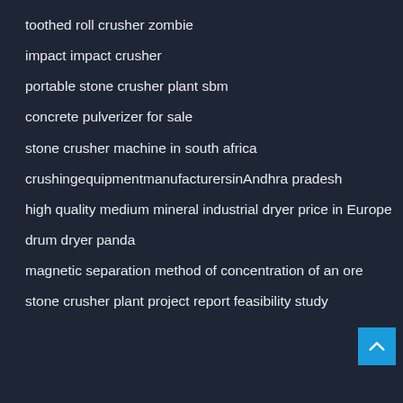toothed roll crusher zombie
impact impact crusher
portable stone crusher plant sbm
concrete pulverizer for sale
stone crusher machine in south africa
crushingequipmentmanufacturersinAndhra pradesh
high quality medium mineral industrial dryer price in Europe
drum dryer panda
magnetic separation method of concentration of an ore
stone crusher plant project report feasibility study